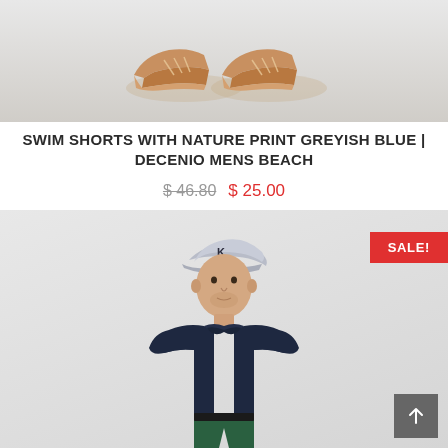[Figure (photo): Bottom portion of a male model wearing tan/brown espadrille shoes on a light grey background, cropped to show only feet and lower legs]
SWIM SHORTS WITH NATURE PRINT GREYISH BLUE | DECENIO MENS BEACH
$ 46.80  $ 25.00 (original price struck through, sale price in red)
[Figure (photo): Male model wearing a grey baseball cap with 'K' logo, dark navy polo shirt, and green shorts, standing against a light grey background. A red SALE! badge appears in the upper right corner. A grey scroll-to-top button with an up arrow is in the lower right.]